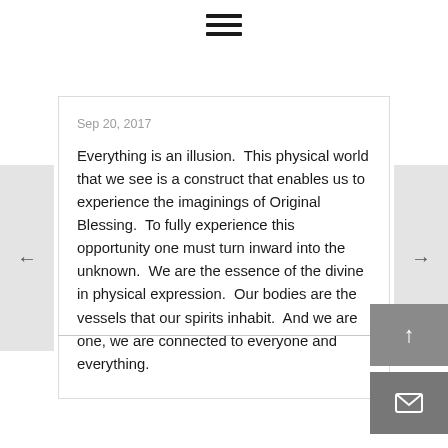[Figure (other): Hamburger menu icon (three horizontal lines) centered at top of page]
Sep 20, 2017
Everything is an illusion.  This physical world that we see is a construct that enables us to experience the imaginings of Original Blessing.  To fully experience this opportunity one must turn inward into the unknown.  We are the essence of the divine in physical expression.  Our bodies are the vessels that our spirits inhabit.  And we are one, we are connected to everyone and everything.
[Figure (other): Left navigation arrow button on left edge of page]
[Figure (other): Right navigation arrow button on right edge of page]
[Figure (other): Scroll-to-top button (upward arrow) in bottom-right corner]
[Figure (other): Email/envelope button in bottom-right corner below scroll-to-top button]